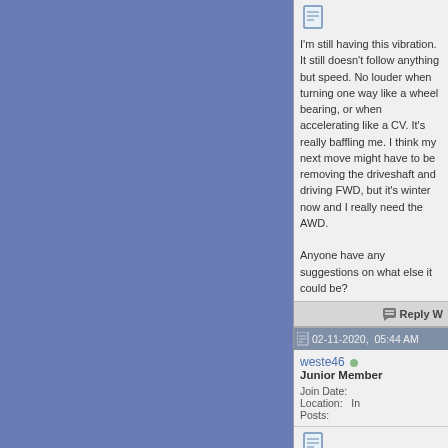I'm still having this vibration. It still doesn't follow anything but speed. No louder when turning one way like a wheel bearing, or when accelerating like a CV. It's really baffling me. I think my next move might have to be removing the driveshaft and driving FWD, but it's winter now and I really need the AWD.

Anyone have any suggestions on what else it could be?
Reply W...
02-11-2020,  05:44 AM
weste46  Junior Member
Join Date:
Location:
Posts:
I went to replace my wheel bearing over the weekend, instead found axial play in the outer joint of my drive axle (the side that is making noise.) I don't have any clicking, but I can feel play in the axle, and no play at the wheel bearing. The noise comes and goes, I can't decide which one to replace. I can still return the wheel bearing...